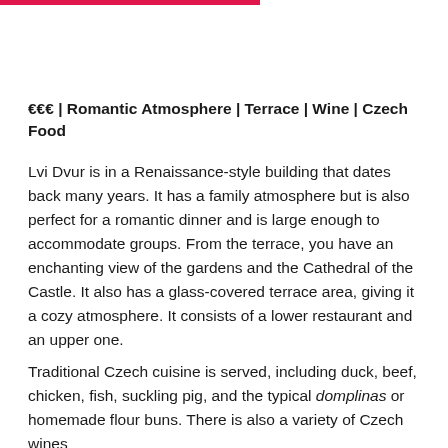€€€ | Romantic Atmosphere | Terrace | Wine | Czech Food
Lvi Dvur is in a Renaissance-style building that dates back many years. It has a family atmosphere but is also perfect for a romantic dinner and is large enough to accommodate groups. From the terrace, you have an enchanting view of the gardens and the Cathedral of the Castle. It also has a glass-covered terrace area, giving it a cozy atmosphere. It consists of a lower restaurant and an upper one.
Traditional Czech cuisine is served, including duck, beef, chicken, fish, suckling pig, and the typical domplinas or homemade flour buns. There is also a variety of Czech wines